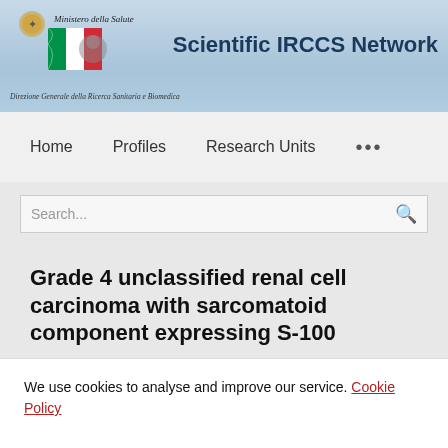[Figure (logo): Italian Ministry of Health logo with flag and 'Ministero della Salute' script text, alongside 'Scientific IRCCS Network' heading and subtitle 'Direzione Generale della Ricerca Sanitaria e Biomedica']
Home   Profiles   Research Units   •••
Search...
Grade 4 unclassified renal cell carcinoma with sarcomatoid component expressing S-100
We use cookies to analyse and improve our service. Cookie Policy